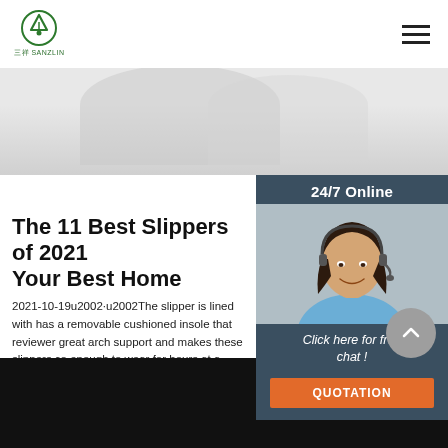三祥 SANZLIN — navigation header with logo and hamburger menu
[Figure (photo): Light grey hero image showing white/grey product shapes (bowls or slippers) on a light background]
[Figure (photo): 24/7 Online chat widget with photo of smiling woman wearing headset, dark blue background, click here for free chat, orange QUOTATION button]
The 11 Best Slippers of 2021 Your Best Home
2021-10-19u2002·u2002The slipper is lined with has a removable cushioned insole that reviewer great arch support and makes these slippers co enough to wear for hours at a time. The 8 Best S in 2021. Hilary Allison The Spruce.
Get Price
[Figure (photo): Black footer/dark area at bottom of page]